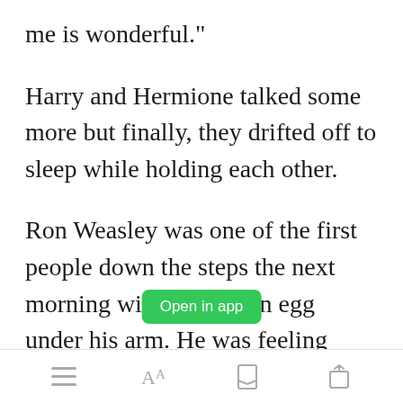me is wonderful."
Harry and Hermione talked some more but finally, they drifted off to sleep while holding each other.
Ron Weasley was one of the first people down the steps the next morning with his golden egg under his arm. He was feeling hungry and wanted a good breakfast. He also
Open in app  [toolbar icons: menu, Aa, bookmark, share]